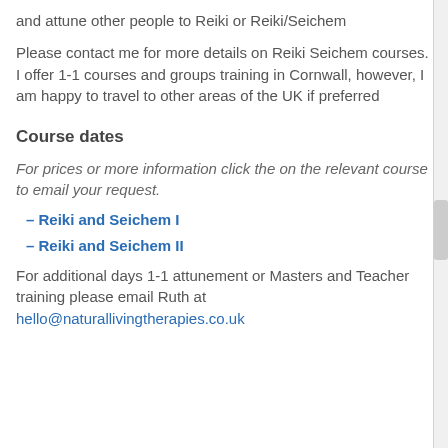and attune other people to Reiki or Reiki/Seichem
Please contact me for more details on Reiki Seichem courses. I offer 1-1 courses and groups training in Cornwall, however, I am happy to travel to other areas of the UK if preferred
Course dates
For prices or more information click the on the relevant course to email your request.
– Reiki and Seichem I
– Reiki and Seichem II
For additional days 1-1 attunement or Masters and Teacher training please email Ruth at hello@naturallivingtherapies.co.uk